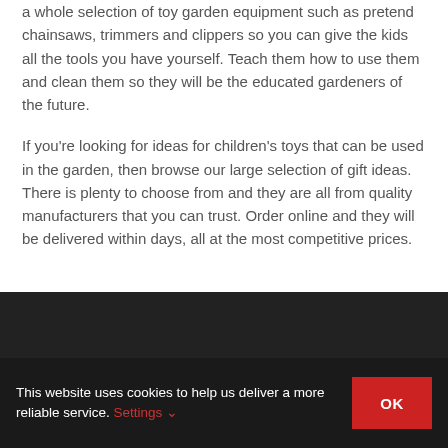a whole selection of toy garden equipment such as pretend chainsaws, trimmers and clippers so you can give the kids all the tools you have yourself. Teach them how to use them and clean them so they will be the educated gardeners of the future.
If you're looking for ideas for children's toys that can be used in the garden, then browse our large selection of gift ideas. There is plenty to choose from and they are all from quality manufacturers that you can trust. Order online and they will be delivered within days, all at the most competitive prices.
This website uses cookies to help us deliver a more reliable service. Settings ∨   OK